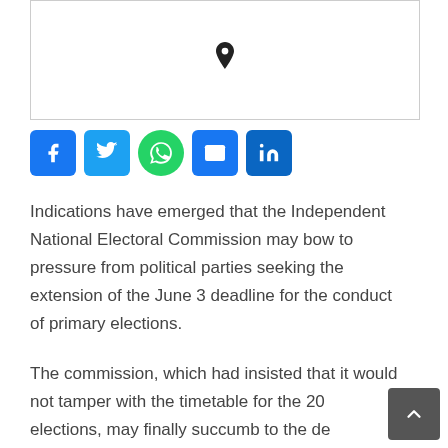[Figure (map): Map area with a location pin marker]
[Figure (infographic): Social sharing icons: Facebook, Twitter, WhatsApp, Email, LinkedIn]
Indications have emerged that the Independent National Electoral Commission may bow to pressure from political parties seeking the extension of the June 3 deadline for the conduct of primary elections.
The commission, which had insisted that it would not tamper with the timetable for the 20 elections, may finally succumb to the demand of the political parties by extending the deadline by